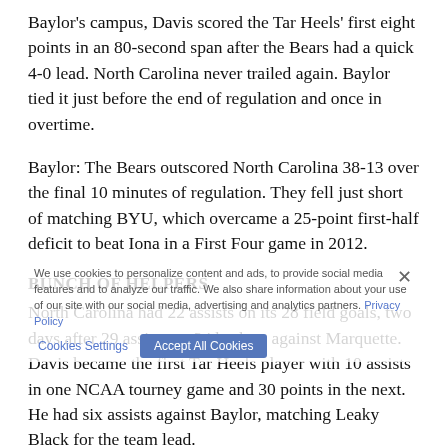Baylor's campus, Davis scored the Tar Heels' first eight points in an 80-second span after the Bears had a quick 4-0 lead. North Carolina never trailed again. Baylor tied it just before the end of regulation and once in overtime.
Baylor: The Bears outscored North Carolina 38-13 over the final 10 minutes of regulation. They fell just short of matching BYU, which overcame a 25-point first-half deficit to beat Iona in a First Four game in 2012.
BUNCH OF HELPERS
North Carolina had 22 assists on its 28 field goals, two days after 29 assists on 34 baskets against Marquette. Davis became the first Tar Heels player with 10 assists in one NCAA tourney game and 30 points in the next. He had six assists against Baylor, matching Leaky Black for the team lead.